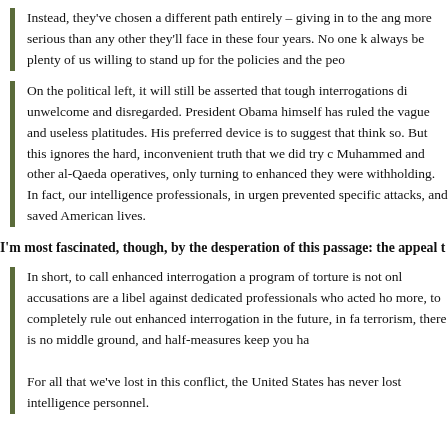Instead, they've chosen a different path entirely – giving in to the ang more serious than any other they'll face in these four years. No one k always be plenty of us willing to stand up for the policies and the peo
On the political left, it will still be asserted that tough interrogations di unwelcome and disregarded. President Obama himself has ruled the vague and useless platitudes. His preferred device is to suggest that think so. But this ignores the hard, inconvenient truth that we did try c Muhammed and other al-Qaeda operatives, only turning to enhanced they were withholding. In fact, our intelligence professionals, in urgen prevented specific attacks, and saved American lives.
I'm most fascinated, though, by the desperation of this passage: the appeal t
In short, to call enhanced interrogation a program of torture is not onl accusations are a libel against dedicated professionals who acted ho more, to completely rule out enhanced interrogation in the future, in fa terrorism, there is no middle ground, and half-measures keep you ha
For all that we've lost in this conflict, the United States has never lost intelligence personnel.